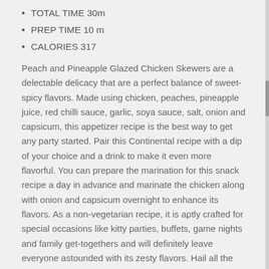TOTAL TIME 30m
PREP TIME 10 m
CALORIES 317
Peach and Pineapple Glazed Chicken Skewers are a delectable delicacy that are a perfect balance of sweet-spicy flavors. Made using chicken, peaches, pineapple juice, red chilli sauce, garlic, soya sauce, salt, onion and capsicum, this appetizer recipe is the best way to get any party started. Pair this Continental recipe with a dip of your choice and a drink to make it even more flavorful. You can prepare the marination for this snack recipe a day in advance and marinate the chicken along with onion and capsicum overnight to enhance its flavors. As a non-vegetarian recipe, it is aptly crafted for special occasions like kitty parties, buffets, game nights and family get-togethers and will definitely leave everyone astounded with its zesty flavors. Hail all the chicken lovers this weekend and try this easy recipe out with your family!
Ingredients of Peach and